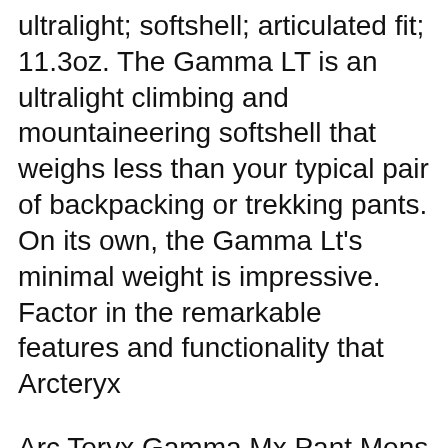ultralight; softshell; articulated fit; 11.3oz. The Gamma LT is an ultralight climbing and mountaineering softshell that weighs less than your typical pair of backpacking or trekking pants. On its own, the Gamma Lt's minimal weight is impressive. Factor in the remarkable features and functionality that Arcteryx
Arc Teryx Gamma Mx Pant Mens Discount. Thanks to everyone who came to visit us to view Arc Teryx Gamma Mx Pant Mens Lowest Price. If you are looking to buy Arc Teryx Gamma Mx Pant Mens for yourself and your family. You'll love the Arc Teryx Gamma Mx Pant Mens - Great Deals on all Store products with Free Shipping.